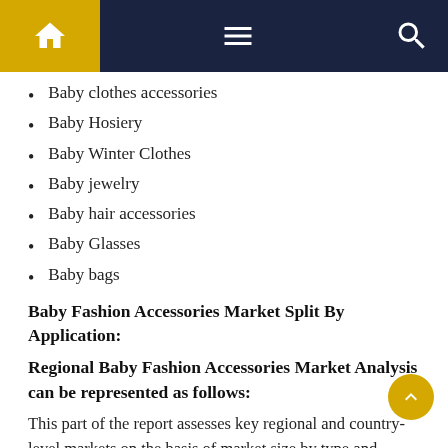Navigation bar with home, menu, and search icons
Baby clothes accessories
Baby Hosiery
Baby Winter Clothes
Baby jewelry
Baby hair accessories
Baby Glasses
Baby bags
Baby Fashion Accessories Market Split By Application:
Regional Baby Fashion Accessories Market Analysis can be represented as follows:
This part of the report assesses key regional and country-level markets on the basis of market size by type and application, key players and key countries...